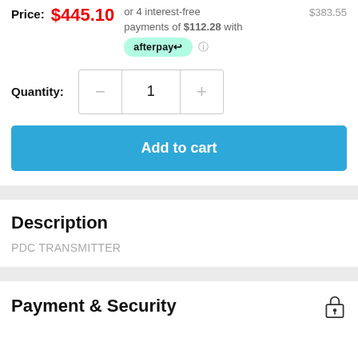Price: $445.10  or 4 interest-free payments of $112.28 with afterpay  $383.55
Quantity: 1
Add to cart
Description
PDC TRANSMITTER
Payment & Security